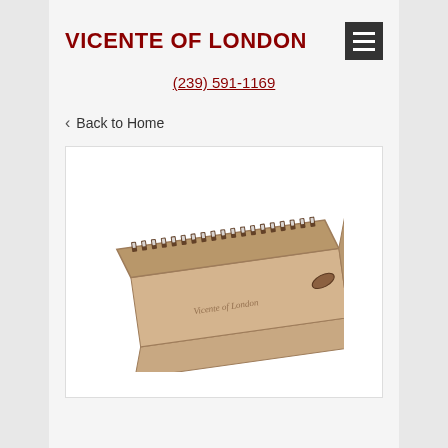VICENTE OF LONDON
(239) 591-1169
< Back to Home
[Figure (photo): Product photo of a tan/beige rectangular cigar cutter or similar leather-bound accessory with a row of teeth along the top edge and a small blade or tool, shown at an angle on a white background.]